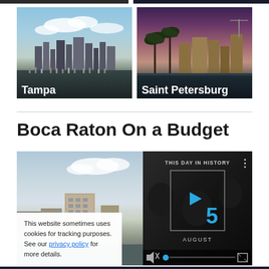[Figure (photo): Partial top strip of two cropped city photos at very top]
[Figure (photo): Tampa city skyline with marina and boats, daytime blue sky with clouds. Label 'Tampa' in white text at bottom left.]
[Figure (photo): Saint Petersburg waterfront at dusk/night with palm trees and buildings reflected in water. Label 'Saint Petersburg' in white text at bottom left.]
Boca Raton On a Budget
[Figure (photo): Boca Raton building/skyline photo on left, overlaid with cookie notice. Right side shows a 'This Day In History' video panel with play button, number 5, and AUGUST label. Video controls at bottom.]
This website sometimes uses cookies for tracking purposes. See our privacy policy for more details.